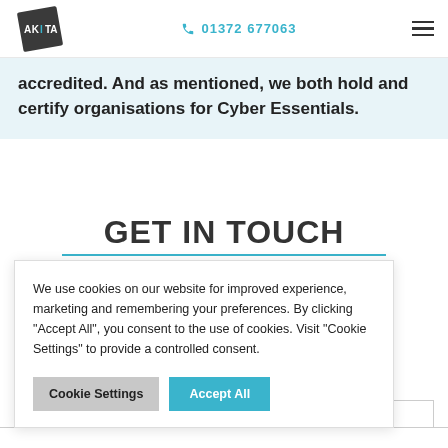AKITA | 01372 677063
accredited. And as mentioned, we both hold and certify organisations for Cyber Essentials.
GET IN TOUCH
managed IT ... the form
We use cookies on our website for improved experience, marketing and remembering your preferences. By clicking "Accept All", you consent to the use of cookies. Visit "Cookie Settings" to provide a controlled consent.